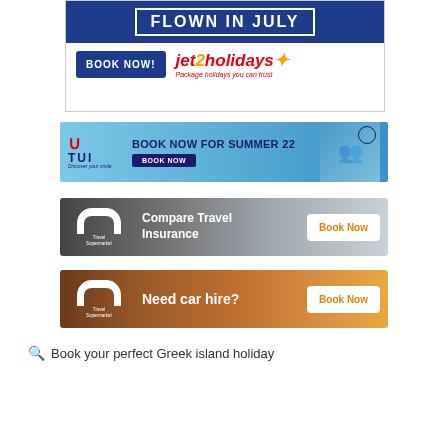[Figure (screenshot): Jet2holidays advertisement banner: 'FLOWN IN JULY' text on blue background, 'BOOK NOW!' button and Jet2holidays logo with tagline 'Package holidays you can trust']
[Figure (screenshot): TUI advertisement: 'BOOK NOW FOR SUMMER 22' with TUI logo, blue sky background with people on floats, BOOK NOW button]
[Figure (screenshot): TravelSupermarket 'Compare Travel Insurance' ad with Book Now button]
[Figure (screenshot): TravelSupermarket 'Need car hire?' ad with Book Now button]
Book your perfect Greek island holiday